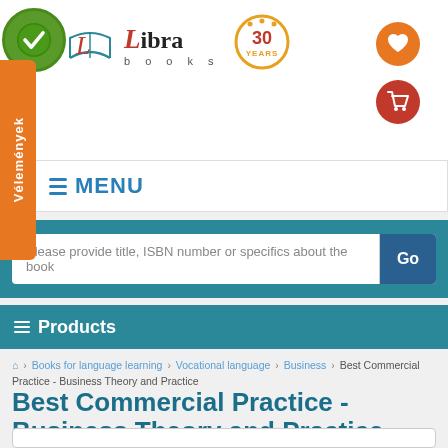[Figure (logo): Libra Books logo with 30 Years badge, green certified badge top-left, heart icon and shopping cart icon top-right]
≡ MENU
Please provide title, ISBN number or specifics about the book
≡ Products
🏠 > Books for language learning > Vocational language > Business > Best Commercial Practice - Business Theory and Practice
Best Commercial Practice - Business Theory and Practice